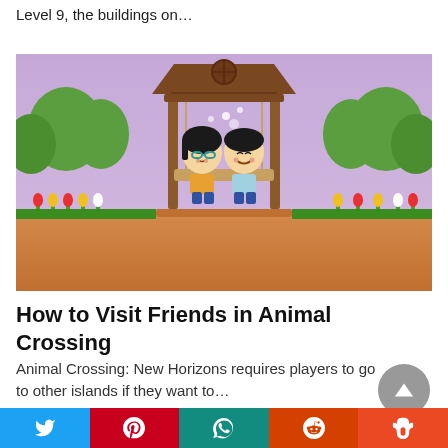Level 9, the buildings on…
[Figure (photo): Screenshot from Animal Crossing: New Horizons showing two player characters sitting on a wooden swing set, with colorful tulips and trees in the background under a purple sky.]
How to Visit Friends in Animal Crossing
Animal Crossing: New Horizons requires players to go to other islands if they want to…
Share bar with Twitter, Pinterest, WhatsApp, Reddit, StumbleUpon